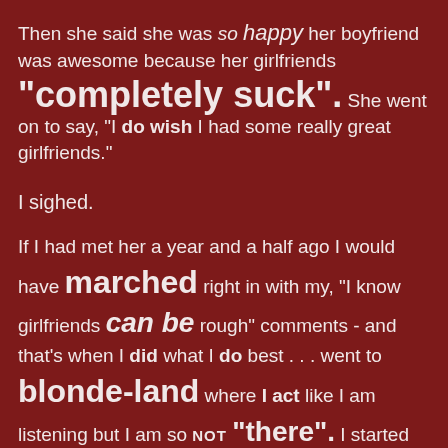Then she said she was so happy her boyfriend was awesome because her girlfriends "completely suck". She went on to say, "I do wish I had some really great girlfriends."
I sighed.
If I had met her a year and a half ago I would have marched right in with my, "I know girlfriends can be rough" comments - and that's when I did what I do best . . . went to blonde-land where I act like I am listening but I am so NOT "there". I started thinking about my friends.
I told her I used to wish for that very same thing when I